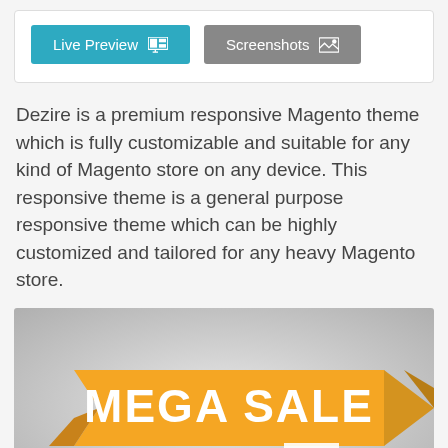[Figure (screenshot): Two buttons: 'Live Preview' (teal/blue) with a grid icon, and 'Screenshots' (gray) with an image icon, on a white card background.]
Dezire is a premium responsive Magento theme which is fully customizable and suitable for any kind of Magento store on any device. This responsive theme is a general purpose responsive theme which can be highly customized and tailored for any heavy Magento store.
[Figure (photo): A promotional banner image with a golden/yellow ribbon-style banner reading 'MEGA SALE' in bold white text, on a gray gradient background. Below the banner is a price tag showing '$54' in red and '$84' with a strikethrough in gray.]